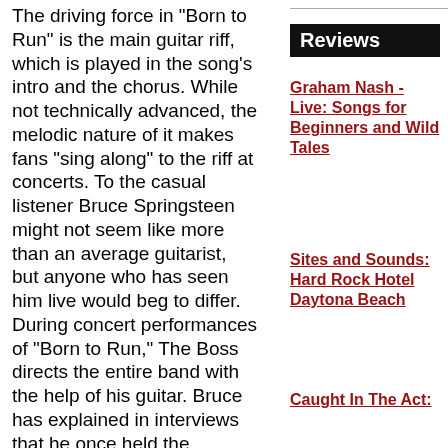The driving force in "Born to Run" is the main guitar riff, which is played in the song's intro and the chorus. While not technically advanced, the melodic nature of it makes fans "sing along" to the riff at concerts. To the casual listener Bruce Springsteen might not seem like more than an average guitarist, but anyone who has seen him live would beg to differ. During concert performances of "Born to Run," The Boss directs the entire band with the help of his guitar. Bruce has explained in interviews that he once held the ambition to be the fastest guitar player in Asbury Park, and while that style of
Reviews
Graham Nash - Live: Songs for Beginners and Wild Tales
Sites and Sounds: Hard Rock Hotel Daytona Beach
Caught In The Act: